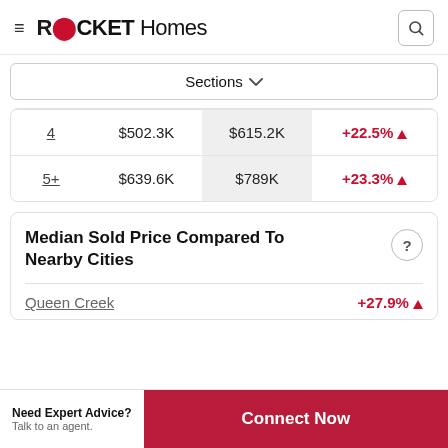ROCKET Homes
Sections
| 4 | $502.3K | $615.2K | +22.5% ↑ |
| 5+ | $639.6K | $789K | +23.3% ↑ |
Median Sold Price Compared To Nearby Cities
Queen Creek +27.9% ↑
Need Expert Advice? Talk to an agent.
Connect Now